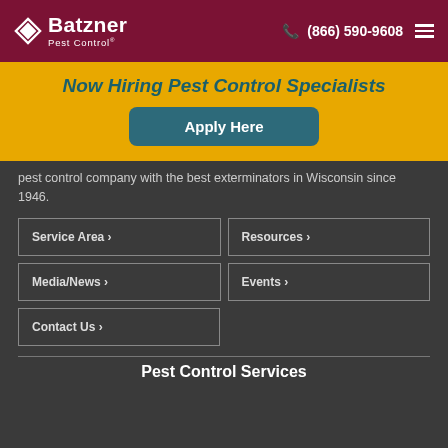[Figure (logo): Batzner Pest Control logo with diamond icon on dark red header bar]
(866) 590-9608
Now Hiring Pest Control Specialists
Apply Here
pest control company with the best exterminators in Wisconsin since 1946.
Service Area ›
Resources ›
Media/News ›
Events ›
Contact Us ›
Pest Control Services